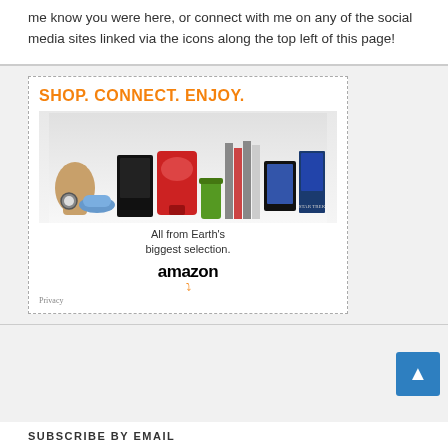me know you were here, or connect with me on any of the social media sites linked via the icons along the top left of this page!
[Figure (infographic): Amazon advertisement with orange text 'SHOP. CONNECT. ENJOY.' and various product images including a purse, game console, kitchen mixer, books, tablet, movie, shoes, watch, and a green drink. Bottom text: 'All from Earth's biggest selection.' with Amazon logo and smile arrow. Privacy link bottom left.]
SUBSCRIBE BY EMAIL